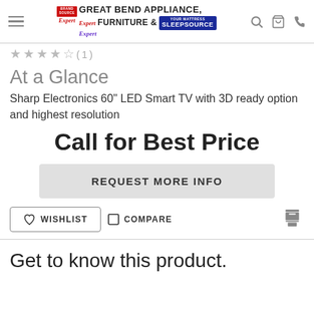Great Bend Appliance, Furniture & Sleep Source
At a Glance
Sharp Electronics 60" LED Smart TV with 3D ready option and highest resolution
Call for Best Price
REQUEST MORE INFO
WISHLIST
COMPARE
Get to know this product.